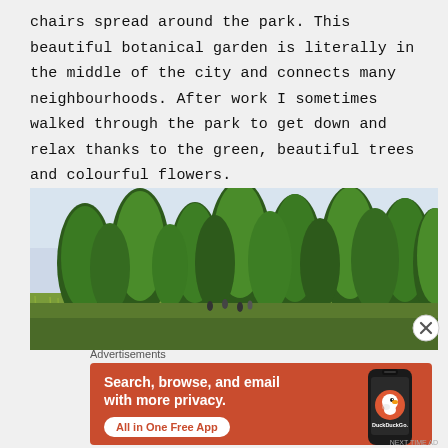chairs spread around the park. This beautiful botanical garden is literally in the middle of the city and connects many neighbourhoods. After work I sometimes walked through the park to get down and relax thanks to the green, beautiful trees and colourful flowers.
[Figure (photo): Photograph of a botanical garden/park with tall green trees in a row, wild grasses and flowers in the foreground, and a clear sky background.]
Advertisements
[Figure (screenshot): DuckDuckGo advertisement banner with orange/red background. Left side text: 'Search, browse, and email with more privacy. All in One Free App'. Right side shows a smartphone with DuckDuckGo logo and name.]